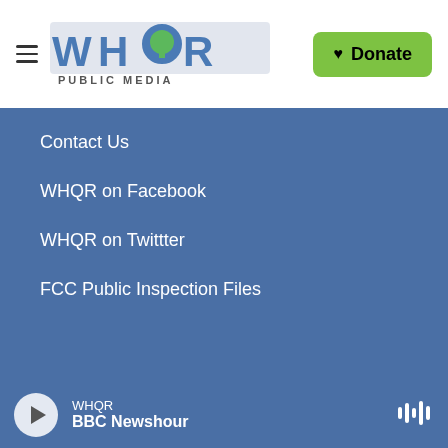WHQR PUBLIC MEDIA | Donate
Contact Us
WHQR on Facebook
WHQR on Twittter
FCC Public Inspection Files
[Figure (logo): Footer logos row 1: NPR, BBC World News, wfmt]
[Figure (logo): Footer logos row 2: American Public Media, cpb, PRX]
WHQR BBC Newshour